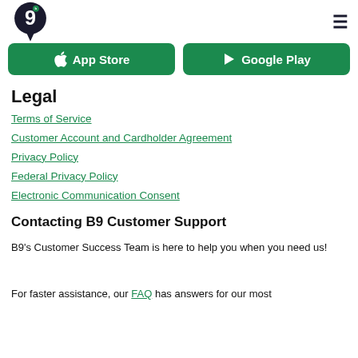[Figure (logo): B9 logo — dark navy circle with 'b' and number 9 with a tag/pin shape below, white text]
[Figure (screenshot): App Store and Google Play green download buttons side by side]
Legal
Terms of Service
Customer Account and Cardholder Agreement
Privacy Policy
Federal Privacy Policy
Electronic Communication Consent
Contacting B9 Customer Support
B9's Customer Success Team is here to help you when you need us!
For faster assistance, our FAQ has answers for our most